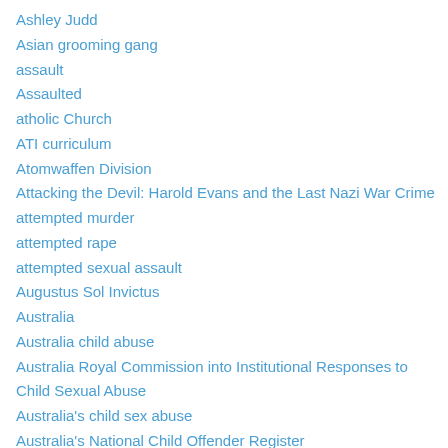Ashley Judd
Asian grooming gang
assault
Assaulted
atholic Church
ATI curriculum
Atomwaffen Division
Attacking the Devil: Harold Evans and the Last Nazi War Crime
attempted murder
attempted rape
attempted sexual assault
Augustus Sol Invictus
Australia
Australia child abuse
Australia Royal Commission into Institutional Responses to Child Sexual Abuse
Australia's child sex abuse
Australia's National Child Offender Register
Australia's Orthodox Jewish community
Australia's Roman Catholic leadership